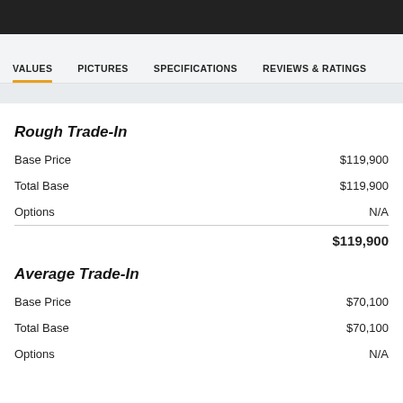VALUES  PICTURES  SPECIFICATIONS  REVIEWS & RATINGS
Rough Trade-In
|  |  |
| --- | --- |
| Base Price | $119,900 |
| Total Base | $119,900 |
| Options | N/A |
|  | $119,900 |
Average Trade-In
|  |  |
| --- | --- |
| Base Price | $70,100 |
| Total Base | $70,100 |
| Options | N/A |